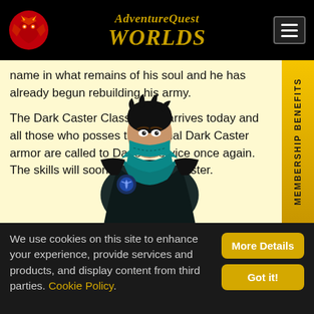AdventureQuest Worlds
name in what remains of his soul and he has already begun rebuilding his army.
The Dark Caster Class finally arrives today and all those who posses the original Dark Caster armor are called to Dage's service once again. The skills will soon be yours to master.
[Figure (illustration): Dark Caster character illustration — a masked ninja-like figure with dark hair, teal scarf and dark cloak with blue emblem]
We use cookies on this site to enhance your experience, provide services and products, and display content from third parties. Cookie Policy.